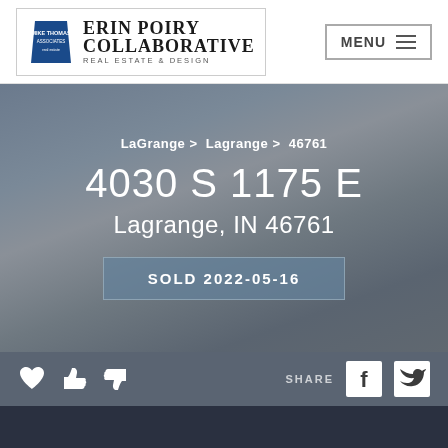[Figure (logo): Erin Poiry Collaborative Real Estate & Design logo with Mike Thomas Associates branding and blue trapezoid icon]
MENU ☰
LaGrange > Lagrange > 46761
4030 S 1175 E
Lagrange, IN 46761
SOLD 2022-05-16
[Figure (infographic): Action bar with heart, thumbs up, thumbs down icons on left; SHARE label with Facebook and Twitter icons on right]